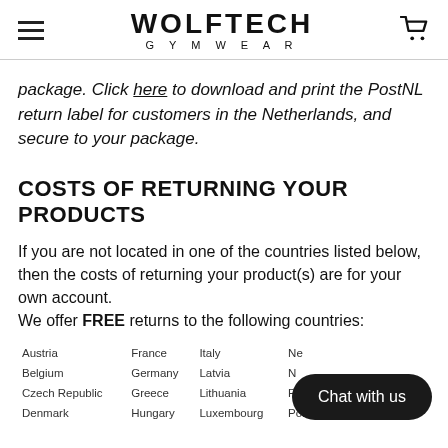WOLFTECH GYMWEAR
package. Click here to download and print the PostNL return label for customers in the Netherlands, and secure to your package.
COSTS OF RETURNING YOUR PRODUCTS
If you are not located in one of the countries listed below, then the costs of returning your product(s) are for your own account. We offer FREE returns to the following countries:
| Austria | France | Italy | Ne... |  |
| Belgium | Germany | Latvia | N... |  |
| Czech Republic | Greece | Lithuania | Pola... |  |
| Denmark | Hungary | Luxembourg | Portugal | Switzerland |